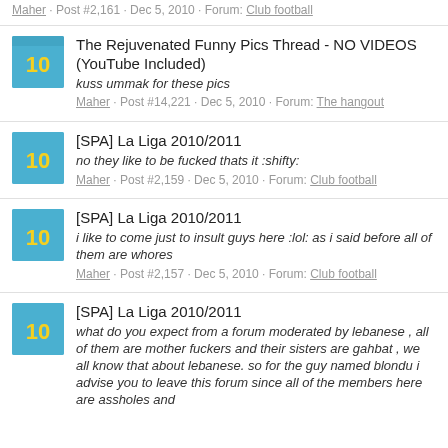Maher · Post #2,161 · Dec 5, 2010 · Forum: Club football
The Rejuvenated Funny Pics Thread - NO VIDEOS (YouTube Included)
kuss ummak for these pics
Maher · Post #14,221 · Dec 5, 2010 · Forum: The hangout
[SPA] La Liga 2010/2011
no they like to be fucked thats it :shifty:
Maher · Post #2,159 · Dec 5, 2010 · Forum: Club football
[SPA] La Liga 2010/2011
i like to come just to insult guys here :lol: as i said before all of them are whores
Maher · Post #2,157 · Dec 5, 2010 · Forum: Club football
[SPA] La Liga 2010/2011
what do you expect from a forum moderated by lebanese , all of them are mother fuckers and their sisters are gahbat , we all know that about lebanese. so for the guy named blondu i advise you to leave this forum since all of the members here are assholes and